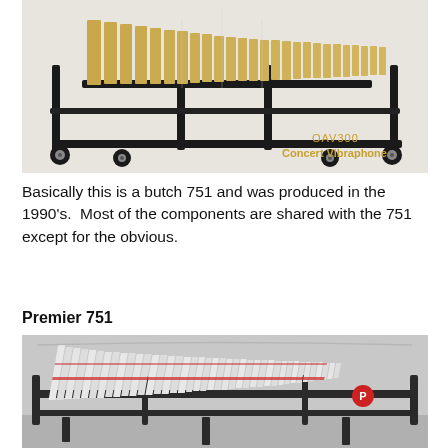[Figure (photo): Photo of the OAV300 Concert Vibraphone — a vibraphone with gold/brass resonator tubes on a black metal frame with wheels. Text overlay reads 'OAV300 Concert Vibraphone' in gold/amber color.]
Basically this is a butch 751 and was produced in the 1990's.  Most of the components are shared with the 751 except for the obvious.
Premier 751
[Figure (photo): Photo of the Premier 751 vibraphone — a vibraphone with silver/aluminum bars and red accents on a black frame, partial view.]